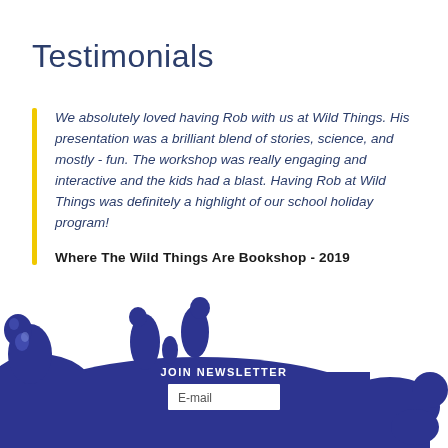Testimonials
We absolutely loved having Rob with us at Wild Things. His presentation was a brilliant blend of stories, science, and mostly - fun. The workshop was really engaging and interactive and the kids had a blast. Having Rob at Wild Things was definitely a highlight of our school holiday program!
Where The Wild Things Are Bookshop - 2019
[Figure (illustration): Blue ink splatter/splash graphic at the bottom of the page with a newsletter signup form embedded in the center]
JOIN NEWSLETTER
E-mail